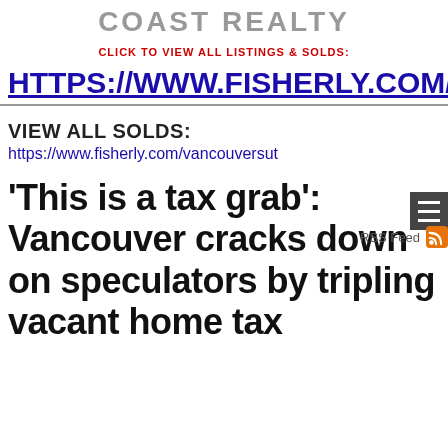COAST REALTY
CLICK TO VIEW ALL LISTINGS & SOLDS:
HTTPS://WWW.FISHERLY.COM/
VIEW ALL SOLDS:
https://www.fisherly.com/vancouversut
RSS Feed
'This is a tax grab': Vancouver cracks down on speculators by tripling vacant home tax